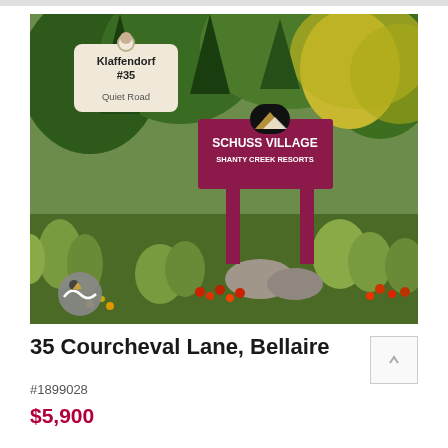[Figure (photo): Outdoor sign for Schuss Village at Shanty Creek Resorts, surrounded by green trees, ornamental grasses, and red flowers. A tag overlay in the upper-left reads 'Klaffendorf #35 / Quiet Road'. A Shanty Creek logo appears in the lower-left of the photo.]
35 Courcheval Lane, Bellaire
#1899028
$5,900